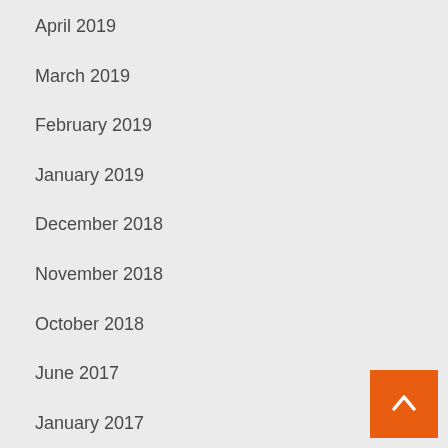April 2019
March 2019
February 2019
January 2019
December 2018
November 2018
October 2018
June 2017
January 2017
July 2016
April 2016
June 2015